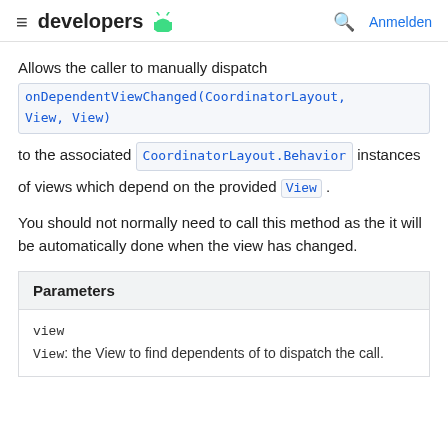developers  [android logo]  [search]  Anmelden
Allows the caller to manually dispatch onDependentViewChanged(CoordinatorLayout, View, View) to the associated CoordinatorLayout.Behavior instances of views which depend on the provided View.
You should not normally need to call this method as the it will be automatically done when the view has changed.
| Parameters |
| --- |
| view | View: the View to find dependents of to dispatch the call. |